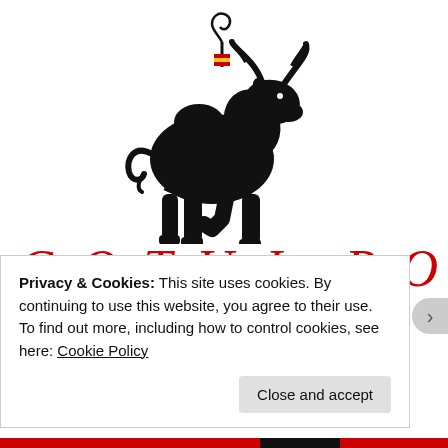[Figure (logo): Black silhouette of a bull with Spanish flag colors (red and yellow) on its back, facing right, with a decorative swirl above. Logo for 'Gotuj po Hiszpańsku' (Cook Spanish) blog.]
GOTUJ PO HISZPAŃSKU
Privacy & Cookies: This site uses cookies. By continuing to use this website, you agree to their use.
To find out more, including how to control cookies, see here: Cookie Policy
Close and accept